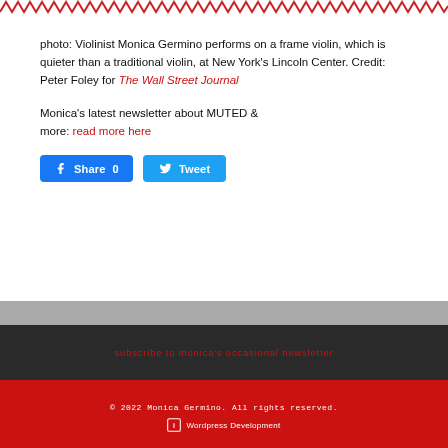photo: Violinist Monica Germino performs on a frame violin, which is quieter than a traditional violin, at New York's Lincoln Center. Credit: Peter Foley for The Wall Street Journal
Monica's latest newsletter about MUTED & more: read more here
[Figure (other): Social share buttons: Facebook Share 0 and Twitter Tweet]
subscribe to monica's occasional newsletter
© 2022 Monica Germino. All rights reserved.
Wordpress Development